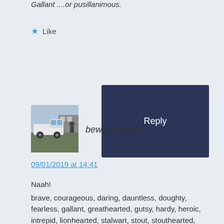Gallant ....or pusillanimous.
★ Like
Reply
[Figure (photo): Avatar photo of user bewilderbeast showing a white pickup truck in front of a building]
bewilderbeast
09/01/2019 at 14:41
Naah!
brave, courageous, daring, dauntless, doughty, fearless, gallant, greathearted, gutsy, hardy, heroic, intrepid, lionhearted, stalwart, stout, stouthearted, valiant, valorous